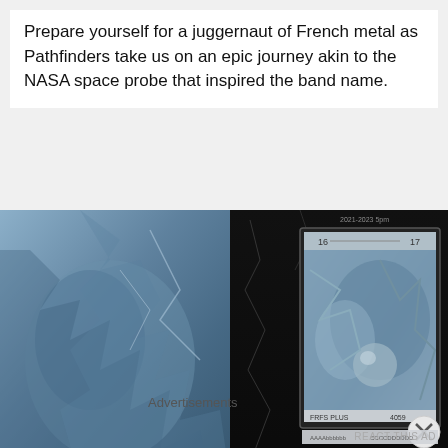Prepare yourself for a juggernaut of French metal as Pathfinders take us on an epic journey akin to the NASA space probe that inspired the band name.
[Figure (photo): A composite image showing two panels side by side: left panel features a blue-toned sculptural relief of a face surrounded by jagged metallic shapes; right panel shows a black-bordered film-strip style frame with a similar blue sculptural subject viewed through what appears to be a TV or camera monitor display, with text overlays reading 'FRFS PLUS' and '4059'.]
Advertisements
REACT THIS AD